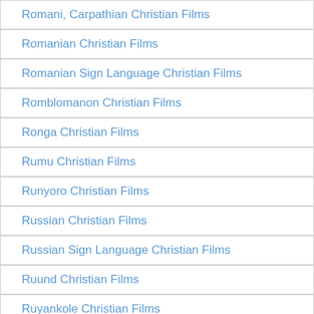Romani, Carpathian Christian Films
Romanian Christian Films
Romanian Sign Language Christian Films
Romblomanon Christian Films
Ronga Christian Films
Rumu Christian Films
Runyoro Christian Films
Russian Christian Films
Russian Sign Language Christian Films
Ruund Christian Films
Ruyankole Christian Films